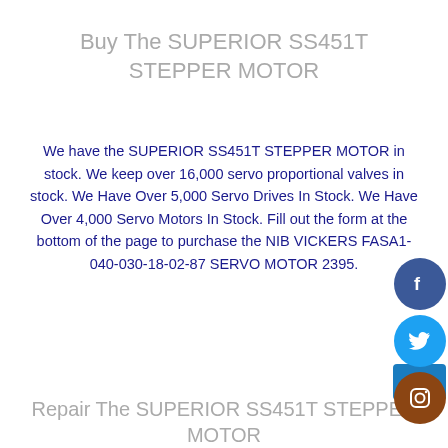Buy The SUPERIOR SS451T STEPPER MOTOR
We have the SUPERIOR SS451T STEPPER MOTOR in stock. We keep over 16,000 servo proportional valves in stock. We Have Over 5,000 Servo Drives In Stock. We Have Over 4,000 Servo Motors In Stock. Fill out the form at the bottom of the page to purchase the NIB VICKERS FASA1-040-030-18-02-87 SERVO MOTOR 2395.
Repair The SUPERIOR SS451T STEPPER MOTOR